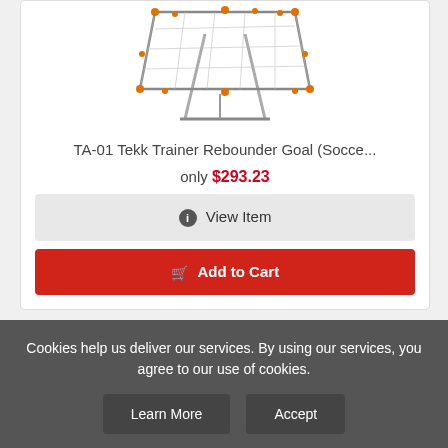[Figure (photo): TA-01 Tekk Trainer Rebounder Goal product image — a net on a frame angled like a backboard]
TA-01 Tekk Trainer Rebounder Goal (Socce...
only $293.23
ⓘ View Item
🛒 Add to Cart
[Figure (photo): Basketball video game box art — REAL BALL. REAL SKILLS. RAISE YOUR GAME. Xbox 360 Kinect sports game]
Cookies help us deliver our services. By using our services, you agree to our use of cookies.
Learn More
Accept